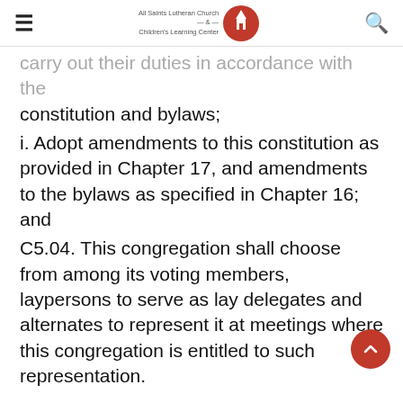All Saints Lutheran Church & Children's Learning Center
carry out their duties in accordance with the constitution and bylaws;
i. Adopt amendments to this constitution as provided in Chapter 17, and amendments to the bylaws as specified in Chapter 16; and
C5.04. This congregation shall choose from among its voting members, laypersons to serve as lay delegates and alternates to represent it at meetings where this congregation is entitled to such representation.
CHAPTER 6 – CHURCH AFFILIATION
C6.01. This congregation is an interdependent part of the NALC or any successor thereto